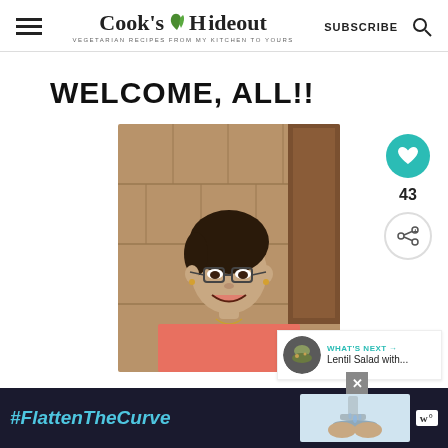Cook's Hideout — VEGETARIAN RECIPES FROM MY KITCHEN TO YOURS — SUBSCRIBE
WELCOME, ALL!!
[Figure (photo): Photo of a smiling woman wearing glasses and a coral/orange top, posed in front of a wooden-tiled background. Side action buttons showing a teal heart icon, the number 43, and a share icon. A 'What's Next' panel shows 'Lentil Salad with...']
#FlattenTheCurve
[Figure (photo): Ad banner showing hands washing at a sink]